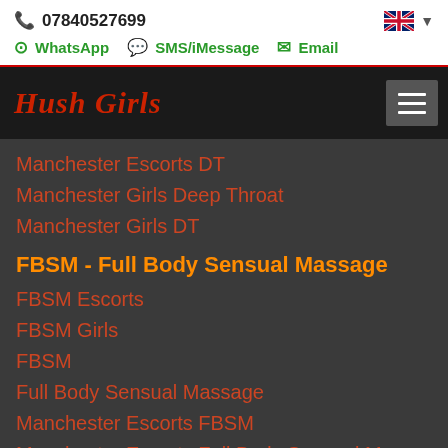07840527699
WhatsApp  SMS/iMessage  Email
Hush Girls
Manchester Escorts DT
Manchester Girls Deep Throat
Manchester Girls DT
FBSM - Full Body Sensual Massage
FBSM Escorts
FBSM Girls
FBSM
Full Body Sensual Massage
Manchester Escorts FBSM
Manchester Escorts Full Body Sensual Massage